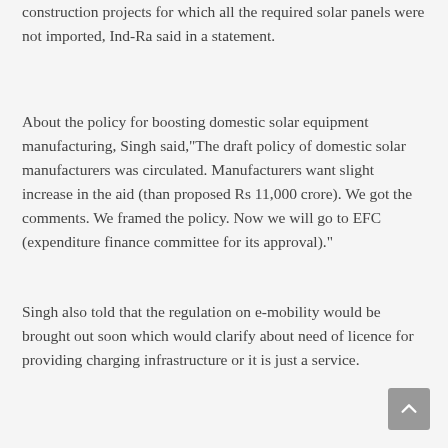construction projects for which all the required solar panels were not imported, Ind-Ra said in a statement.
About the policy for boosting domestic solar equipment manufacturing, Singh said,"The draft policy of domestic solar manufacturers was circulated. Manufacturers want slight increase in the aid (than proposed Rs 11,000 crore). We got the comments. We framed the policy. Now we will go to EFC (expenditure finance committee for its approval)."
Singh also told that the regulation on e-mobility would be brought out soon which would clarify about need of licence for providing charging infrastructure or it is just a service.